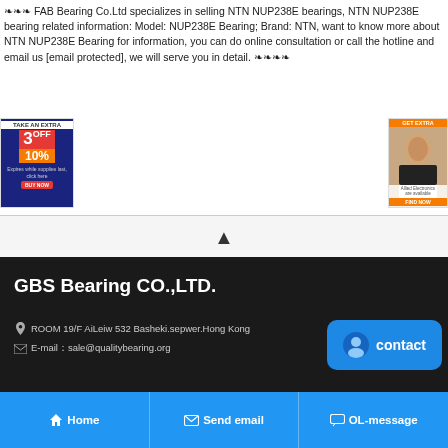❧❧❧ FAB Bearing Co.Ltd specializes in selling NTN NUP238E bearings, NTN NUP238E bearing related information: Model: NUP238E Bearing; Brand: NTN, want to know more about NTN NUP238E Bearing for information, you can do online consultation or call the hotline and email us [email protected], we will serve you in detail. ❧❧❧❧
[Figure (advertisement): Left ad banner: blue background with red '3OFF' and orange '10%' discount offer with a red button]
[Figure (advertisement): Right ad banner: orange header, face photo, and orange button]
▲
GBS Bearing CO.,LTD.
🏠 ROOM 19/F AiLeiw 532 Basheki.sepwer.Hong Kong
✉ E-mail：sale@qualitybearing.org
contact
🏠 Home   ✉ Send email   💬 OL-message